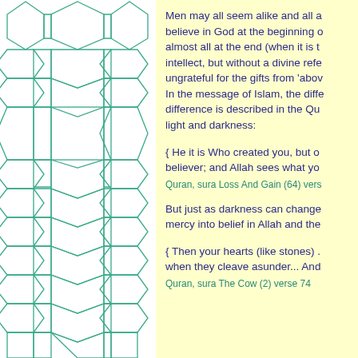[Figure (illustration): Islamic geometric tessellation pattern with teal/green lines on white background, featuring repeating pentagons, hexagons, and polygonal tiles in a traditional Islamic geometric design]
Men may all seem alike and all a believe in God at the beginning o almost all at the end (when it is t intellect, but without a divine refe ungrateful for the gifts from 'abov In the message of Islam, the diffe difference is described in the Qu light and darkness:
{ He it is Who created you, but o believer; and Allah sees what yo
Quran, sura Loss And Gain (64) vers
But just as darkness can change mercy into belief in Allah and the
{ Then your hearts (like stones) . when they cleave asunder... And
Quran, sura The Cow (2) verse 74